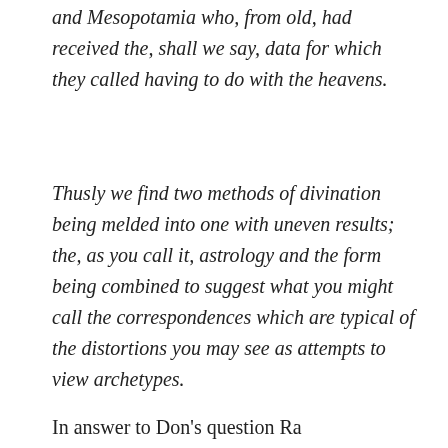and Mesopotamia who, from old, had received the, shall we say, data for which they called having to do with the heavens.
Thusly we find two methods of divination being melded into one with uneven results; the, as you call it, astrology and the form being combined to suggest what you might call the correspondences which are typical of the distortions you may see as attempts to view archetypes.
In answer to Don's question Ra